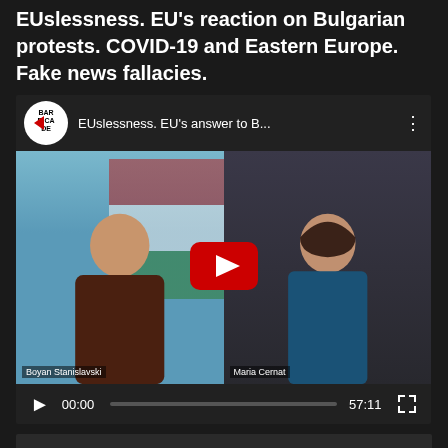EUslessness. EU's reaction on Bulgarian protests. COVID-19 and Eastern Europe. Fake news fallacies.
[Figure (screenshot): Embedded YouTube video player showing 'EUslessness. EU's answer to B...' with the Barricade logo, two video call participants (Boyan Stanislavski on the left with a Bulgarian flag background, Maria Cernat on the right), a red play button overlay, and video controls showing 00:00 / 57:11]